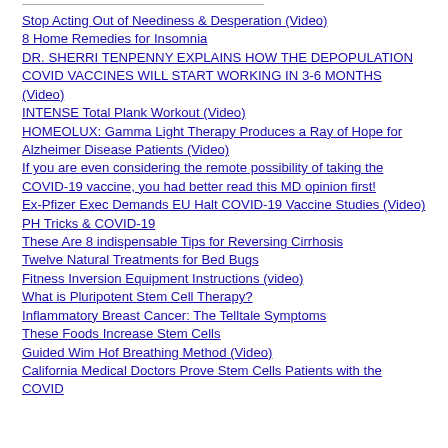Stop Acting Out of Neediness & Desperation (Video)
8 Home Remedies for Insomnia
DR. SHERRI TENPENNY EXPLAINS HOW THE DEPOPULATION COVID VACCINES WILL START WORKING IN 3-6 MONTHS (Video)
INTENSE Total Plank Workout (Video)
HOMEOLUX: Gamma Light Therapy Produces a Ray of Hope for Alzheimer Disease Patients (Video)
If you are even considering the remote possibility of taking the COVID-19 vaccine, you had better read this MD opinion first!
Ex-Pfizer Exec Demands EU Halt COVID-19 Vaccine Studies (Video)
PH Tricks & COVID-19
These Are 8 indispensable Tips for Reversing Cirrhosis
Twelve Natural Treatments for Bed Bugs
Fitness Inversion Equipment Instructions (video)
What is Pluripotent Stem Cell Therapy?
Inflammatory Breast Cancer: The Telltale Symptoms
These Foods Increase Stem Cells
Guided Wim Hof Breathing Method (Video)
California Medical Doctors Prove Stem Cells Patients with the COVID